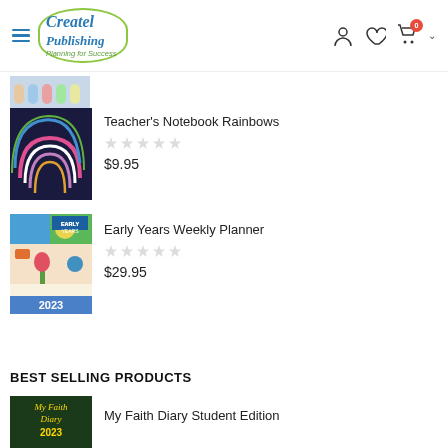Createl Publishing — Planning for Success
[Figure (screenshot): Partial product thumbnail at top (characters/people illustration)]
[Figure (photo): Teacher's Notebook Rainbows cover — dark navy background with colorful rainbow arches]
Teacher's Notebook Rainbows
$9.95
[Figure (photo): Early Years Weekly Planner 2023 cover — colorful abstract shapes, plants, '2023' text at bottom]
Early Years Weekly Planner
$29.95
BEST SELLING PRODUCTS
[Figure (photo): My Faith Diary 2023 cover — dark green background with gold text]
My Faith Diary Student Edition